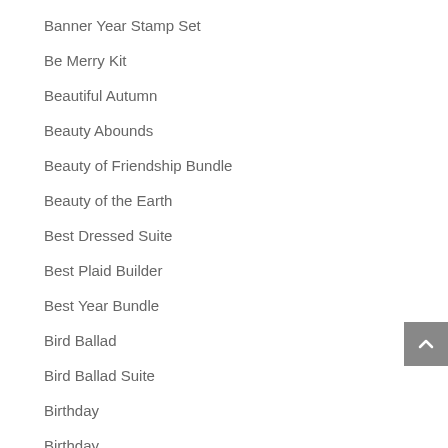Banner Year Stamp Set
Be Merry Kit
Beautiful Autumn
Beauty Abounds
Beauty of Friendship Bundle
Beauty of the Earth
Best Dressed Suite
Best Plaid Builder
Best Year Bundle
Bird Ballad
Bird Ballad Suite
Birthday
Birthday
Blender Pens